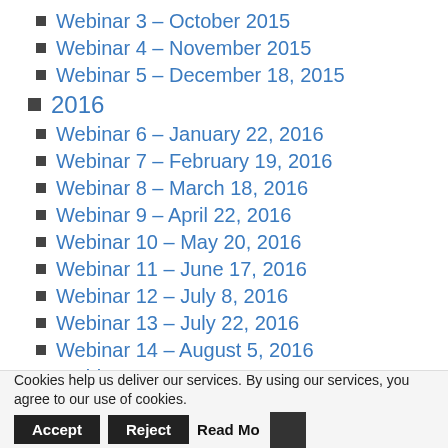Webinar 3 – October 2015
Webinar 4 – November 2015
Webinar 5 – December 18, 2015
2016
Webinar 6 – January 22, 2016
Webinar 7 – February 19, 2016
Webinar 8 – March 18, 2016
Webinar 9 – April 22, 2016
Webinar 10 – May 20, 2016
Webinar 11 – June 17, 2016
Webinar 12 – July 8, 2016
Webinar 13 – July 22, 2016
Webinar 14 – August 5, 2016
Webinar 15 – August 19, 2016
Cookies help us deliver our services. By using our services, you agree to our use of cookies. Accept Reject Read More